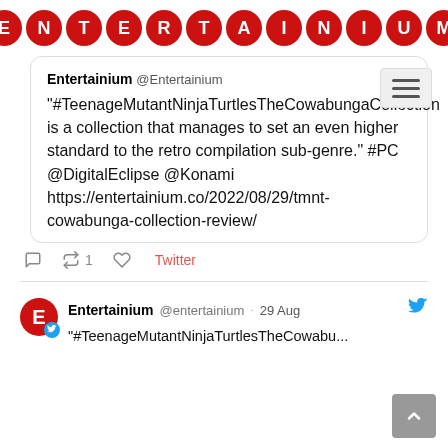[Figure (logo): Entertainium logo — letters E N T E R T A I N I U M each in a red circle with white text, arranged in a row]
[Figure (other): Hamburger menu button (three horizontal lines) in a light grey rounded rectangle]
Entertainium @Entertainium
"#TeenageMutantNinjaTurtlesTheCowabungaCollection is a collection that manages to set an even higher standard to the retro compilation sub-genre." #PC @DigitalEclipse @Konami https://entertainium.co/2022/08/29/tmnt-cowabunga-collection-review/
reply  retweet 1  heart  Twitter
Entertainium @entertainium · 29 Aug
"#TeenageMutantNinjaTurtlesTheCowabu..."